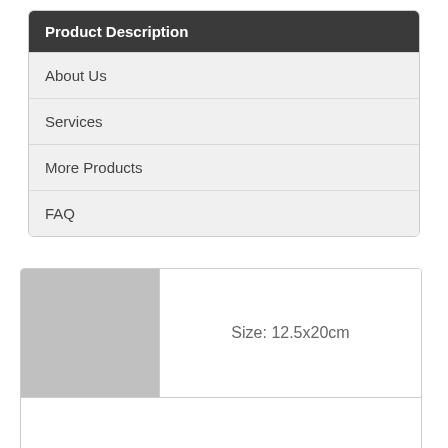Product Description
About Us
Services
More Products
FAQ
[Figure (other): Gray placeholder image square on left side of product panel]
Size: 12.5x20cm